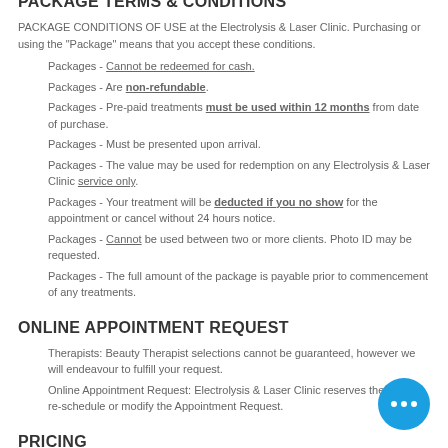Gift Vouchers - Will be invalid if you no show for the appointment or cancel without 24 hours notice
PACKAGE TERMS & CONDITIONS
PACKAGE CONDITIONS OF USE at the Electrolysis & Laser Clinic. Purchasing or using the "Package" means that you accept these conditions.
Packages - Cannot be redeemed for cash.
Packages - Are non-refundable.
Packages - Pre-paid treatments must be used within 12 months from date of purchase.
Packages - Must be presented upon arrival.
Packages - The value may be used for redemption on any Electrolysis & Laser Clinic service only.
Packages - Your treatment will be deducted if you no show for the appointment or cancel without 24 hours notice.
Packages - Cannot be used between two or more clients. Photo ID may be requested.
Packages - The full amount of the package is payable prior to commencement of any treatments.
ONLINE APPOINTMENT REQUEST
Therapists: Beauty Therapist selections cannot be guaranteed, however we will endeavour to fulfill your request.
Online Appointment Request: Electrolysis & Laser Clinic reserves the right to re-schedule or modify the Appointment Request.
PRICING
Electrolysis & Laser Clinic reserves the right to change pricing without notification.
FIRST TIME VISIT TO OUR SALON